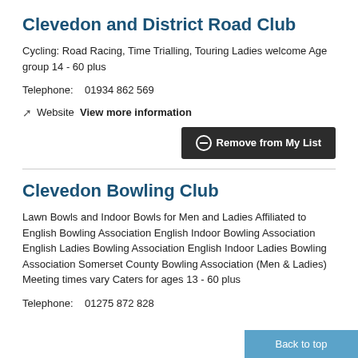Clevedon and District Road Club
Cycling: Road Racing, Time Trialling, Touring Ladies welcome Age group 14 - 60 plus
Telephone:    01934 862 569
Website  View more information
Remove from My List
Clevedon Bowling Club
Lawn Bowls and Indoor Bowls for Men and Ladies Affiliated to English Bowling Association English Indoor Bowling Association English Ladies Bowling Association English Indoor Ladies Bowling Association Somerset County Bowling Association (Men & Ladies) Meeting times vary Caters for ages 13 - 60 plus
Telephone:    01275 872 828